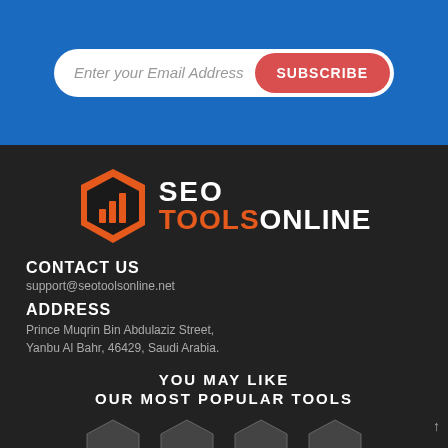Enter your Email Address
SUBSCRIBE
[Figure (logo): SEO Tools Online logo: orange hexagon icon with bar chart, text SEO TOOLSONLINE]
CONTACT US
support@seotoolsonline.net
ADDRESS
Prince Muqrin Bin Abdulaziz Street, Yanbu Al Bahr, 46429, Saudi Arabia.
YOU MAY LIKE
OUR MOST POPULAR TOOLS
[Figure (other): Four hexagon tool icons at bottom with labels PA, AR, BC, MC]